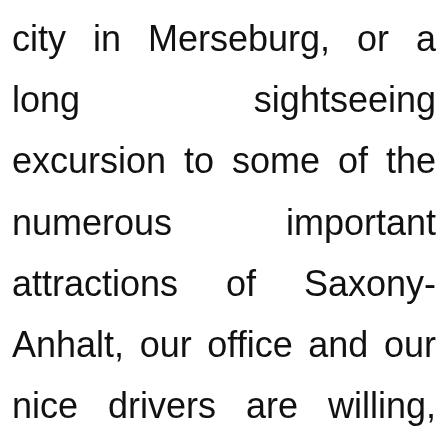city in Merseburg, or a long sightseeing excursion to some of the numerous important attractions of Saxony-Anhalt, our office and our nice drivers are willing, prepared and capable to help you out. We welcome you to contact us by email at